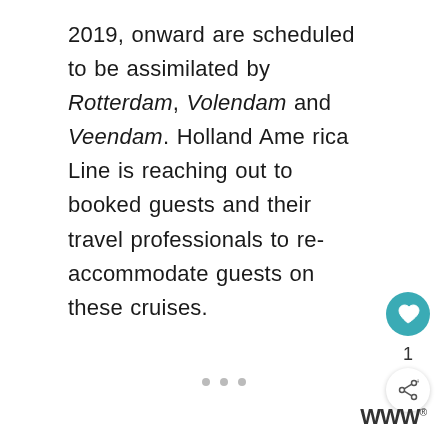2019, onward are scheduled to be assimilated by Rotterdam, Volendam and Veendam. Holland America Line is reaching out to booked guests and their travel professionals to re-accommodate guests on these cruises.